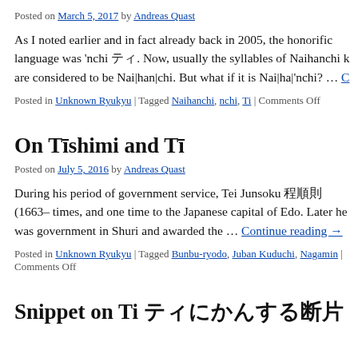Posted on March 5, 2017 by Andreas Quast
As I noted earlier and in fact already back in 2005, the honorific language was ‘nchi ティ. Now, usually the syllables of Naihanchi káta are considered to be Nai|han|chi. But what if it is Nai|ha|’nchi? … Continue reading →
Posted in Unknown Ryukyu | Tagged Naihanchi, nchi, Ti | Comments Off
On Tīshimi and Tī
Posted on July 5, 2016 by Andreas Quast
During his period of government service, Tei Junsoku 程順則 (1663– times, and one time to the Japanese capital of Edo. Later he was government in Shuri and awarded the … Continue reading →
Posted in Unknown Ryukyu | Tagged Bunbu-ryodo, Juban Kuduchi, Nagamin | Comments Off
Snippet on Ti ティに関する断片